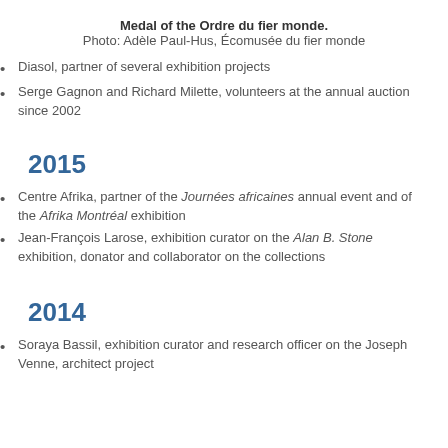Medal of the Ordre du fier monde. Photo: Adèle Paul-Hus, Écomusée du fier monde
Diasol, partner of several exhibition projects
Serge Gagnon and Richard Milette, volunteers at the annual auction since 2002
2015
Centre Afrika, partner of the Journées africaines annual event and of the Afrika Montréal exhibition
Jean-François Larose, exhibition curator on the Alan B. Stone exhibition, donator and collaborator on the collections
2014
Soraya Bassil, exhibition curator and research officer on the Joseph Venne, architect project